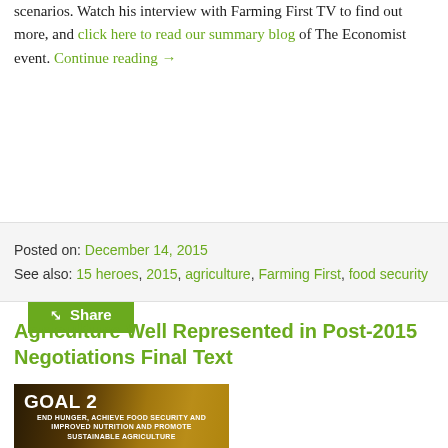scenarios. Watch his interview with Farming First TV to find out more, and click here to read our summary blog of The Economist event. Continue reading →
Share
Posted on: December 14, 2015
See also: 15 heroes, 2015, agriculture, Farming First, food security
Agriculture Well Represented in Post-2015 Negotiations Final Text
[Figure (photo): Goal 2 image showing grain in a sack with text: GOAL 2 END HUNGER, ACHIEVE FOOD SECURITY AND IMPROVED NUTRITION AND PROMOTE SUSTAINABLE AGRICULTURE]